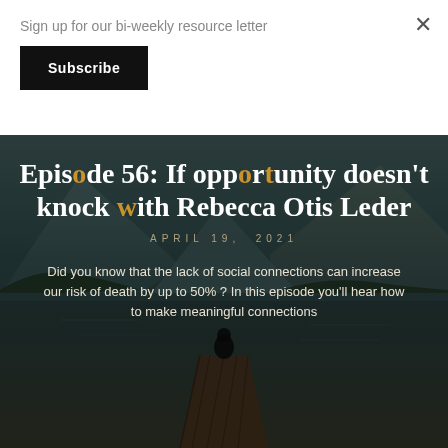Sign up for our bi-weekly resource letter
Subscribe
×
Episode 56: If opportunity doesn't knock with Rebecca Otis Leder
APRIL 19, 2021
Did you know that the lack of social connections can increase our risk of death by up to 50%? In this episode you'll hear how to make meaningful connections
[Figure (photo): Background photo of a person sitting on a wooden dock by a mountain lake, surrounded by mountains with trees, reflecting in calm water. Dark moody tones.]